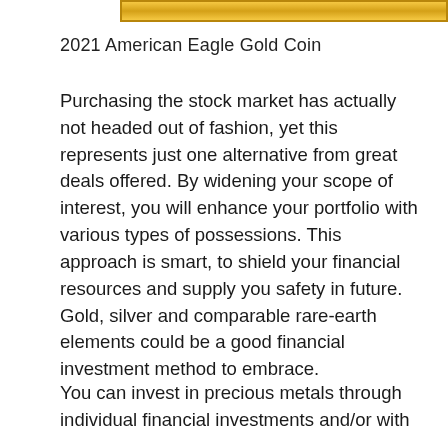[Figure (illustration): Gold bar graphic with yellow/gold gradient background and dark border]
2021 American Eagle Gold Coin
Purchasing the stock market has actually not headed out of fashion, yet this represents just one alternative from great deals offered. By widening your scope of interest, you will enhance your portfolio with various types of possessions. This approach is smart, to shield your financial resources and supply you safety in future. Gold, silver and comparable rare-earth elements could be a good financial investment method to embrace.
You can invest in precious metals through individual financial investments and/or with